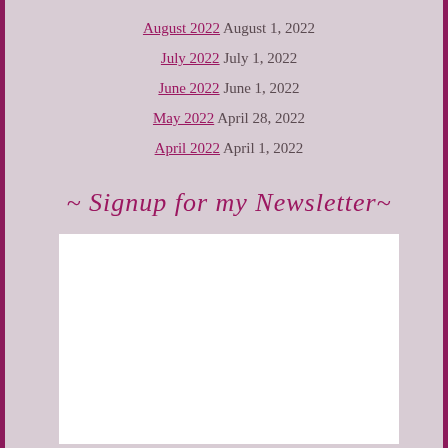August 2022 August 1, 2022
July 2022 July 1, 2022
June 2022 June 1, 2022
May 2022 April 28, 2022
April 2022 April 1, 2022
~ Signup for my Newsletter~
[Figure (other): White newsletter signup embed/widget box]
Follow on Twitter